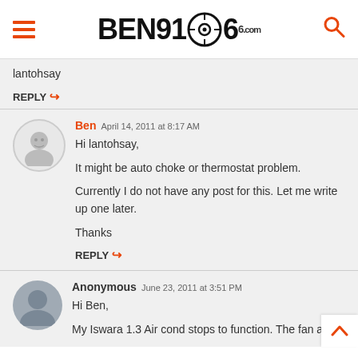BEN9166.com
lantohsay
REPLY
Ben April 14, 2011 at 8:17 AM
Hi lantohsay,

It might be auto choke or thermostat problem.

Currently I do not have any post for this. Let me write up one later.

Thanks
REPLY
Anonymous June 23, 2011 at 3:51 PM
Hi Ben,

My Iswara 1.3 Air cond stops to function. The fan and